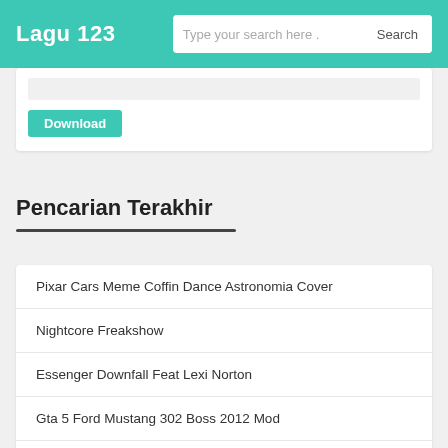Lagu 123
Type your search here . Search
[Figure (screenshot): Download button area with gray input area and teal Download button]
Pencarian Terakhir
Pixar Cars Meme Coffin Dance Astronomia Cover
Nightcore Freakshow
Essenger Downfall Feat Lexi Norton
Gta 5 Ford Mustang 302 Boss 2012 Mod
Ost Pv 5 1 Elysia Pristine Realm 1 Hour Extended Honkai Impact 3rd